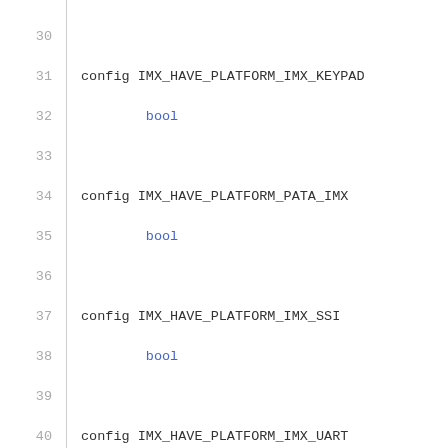30
31  config IMX_HAVE_PLATFORM_IMX_KEYPAD
32          bool
33
34  config IMX_HAVE_PLATFORM_PATA_IMX
35          bool
36
37  config IMX_HAVE_PLATFORM_IMX_SSI
38          bool
39
40  config IMX_HAVE_PLATFORM_IMX_UART
41          bool
42
43  config IMX_HAVE_PLATFORM_IMX_UDC
44          bool
45
46  config IMX_HAVE_PLATFORM_IPU_CORE
47          bool
48
49  config IMX_HAVE_PLATFORM_MX1_CAMERA
50          bool
51